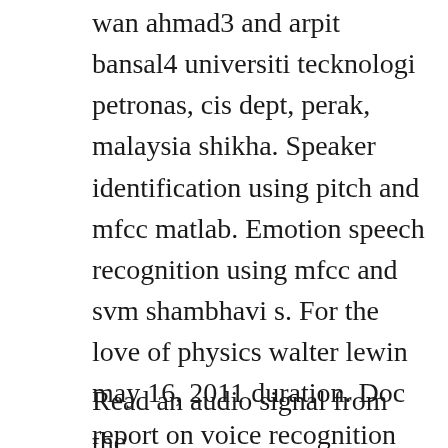wan ahmad3 and arpit bansal4 universiti tecknologi petronas, cis dept, perak, malaysia shikha. Speaker identification using pitch and mfcc matlab. Emotion speech recognition using mfcc and svm shambhavi s. For the love of physics walter lewin may 16, 2011 duration. Doc report on voice recognition using matlab abhishek. This page contains speech recognition seminar and ppt with pdf report. Mfcc are based on the weighted power spectrum of the speech signal.
Read an audio signal from the